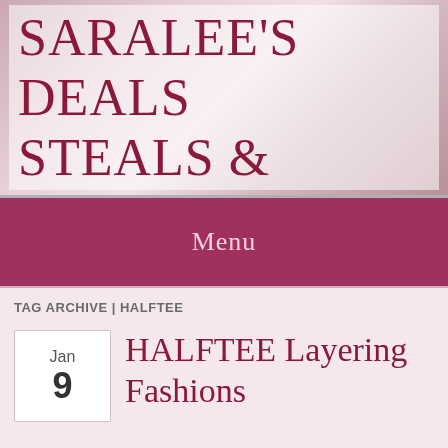SARALEE'S DEALS STEALS & GIVEAWAYS
Menu
TAG ARCHIVE | HALFTEE
Jan 9
HALFTEE Layering Fashions